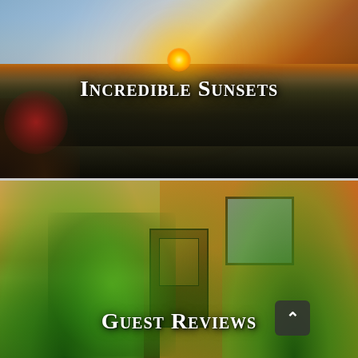[Figure (photo): Sunset view from a balcony overlooking a city skyline with ocean in the background, golden-orange sky, flowers on left railing]
Incredible Sunsets
[Figure (photo): Exterior of a tropical accommodation entrance with lush palm trees, warm orange stucco walls, ornate wooden door with iron grill, second floor window with iron bars]
Guest Reviews